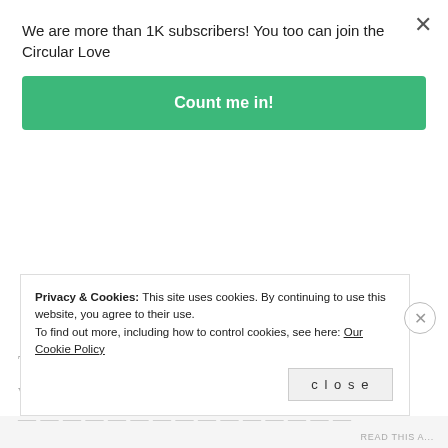We are more than 1K subscribers! You too can join the Circular Love
Count me in!
Original Article: The best Way to Pick a Watermelon on TheKitchn
There’s a definite art to picking the very best watermelons. It involves weighing the
Privacy & Cookies: This site uses cookies. By continuing to use this website, you agree to their use.
To find out more, including how to control cookies, see here: Our Cookie Policy
close